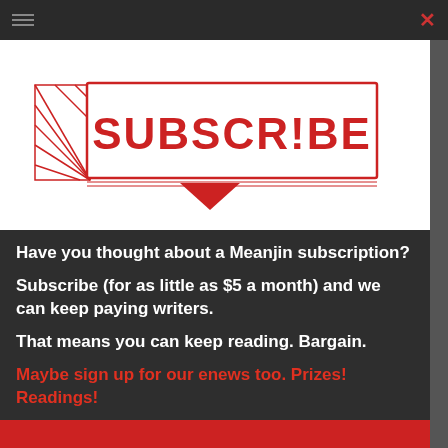[Figure (illustration): Hand-drawn sketch in red ink of a rectangular box labeled SUBSCRIBE with hatching decoration and a downward-pointing arrow/chevron below it.]
Have you thought about a Meanjin subscription?
Subscribe (for as little as $5 a month) and we can keep paying writers.
That means you can keep reading. Bargain.
Maybe sign up for our enews too. Prizes! Readings!